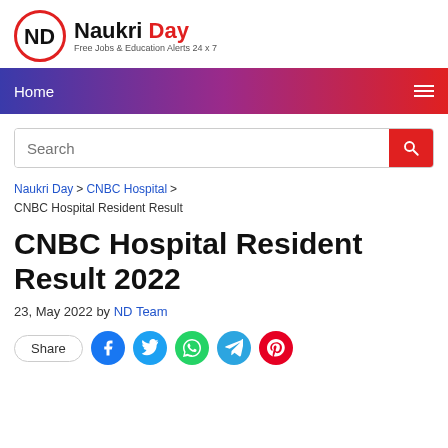[Figure (logo): Naukri Day logo — red circle with ND monogram, text 'Naukri Day' with 'Day' in red, tagline 'Free Jobs & Education Alerts 24 x 7']
Home ≡
[Figure (screenshot): Search bar with placeholder 'Search' and red search button]
Naukri Day > CNBC Hospital > CNBC Hospital Resident Result
CNBC Hospital Resident Result 2022
23, May 2022 by ND Team
[Figure (infographic): Social share buttons: Share, Facebook, Twitter, WhatsApp, Telegram, Pinterest]